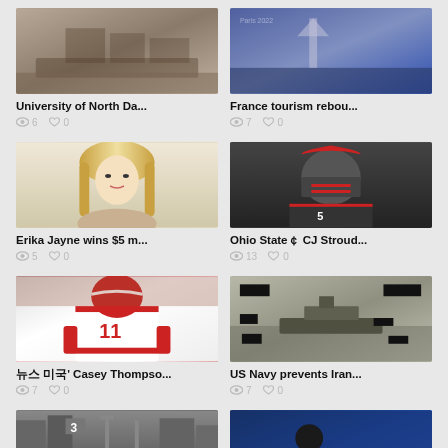[Figure (photo): University of North Dakota campus or related image]
University of North Da...
👁 6  ♥ 0
[Figure (photo): France tourism photo with flags or landmark]
France tourism rebou...
👁 7  ♥ 0
[Figure (photo): Erika Jayne portrait - blonde woman]
Erika Jayne wins $5 m...
👁 5  ♥ 0
[Figure (photo): Ohio State CJ Stroud in football helmet and uniform]
Ohio State CJ Stroud...
👁 13  ♥ 0
[Figure (photo): Casey Thompson in Nebraska #11 football uniform]
대한민국 네이버' Casey Thompso...
👁 7  ♥ 0
[Figure (photo): US Navy aerial image of Iranian vessel]
US Navy prevents Iran...
👁 7  ♥ 0
[Figure (photo): Crowd scene at transit station, black and white AP photo]
미 언론들이 보는 AP 통신이 포착한 가장 등
[Figure (photo): Serena Williams playing tennis at US Open 2022]
US 오픈 2022: Serena Wil...